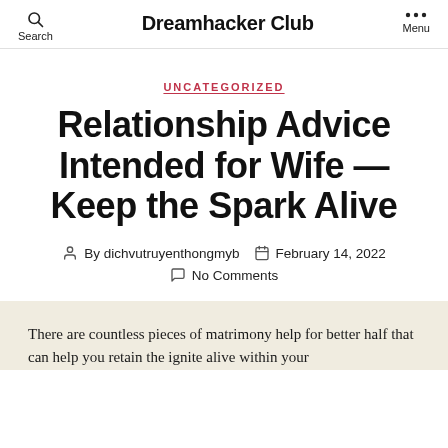Dreamhacker Club
UNCATEGORIZED
Relationship Advice Intended for Wife — Keep the Spark Alive
By dichvutruyenthongmyb   February 14, 2022   No Comments
There are countless pieces of matrimony help for better half that can help you retain the ignite alive within your